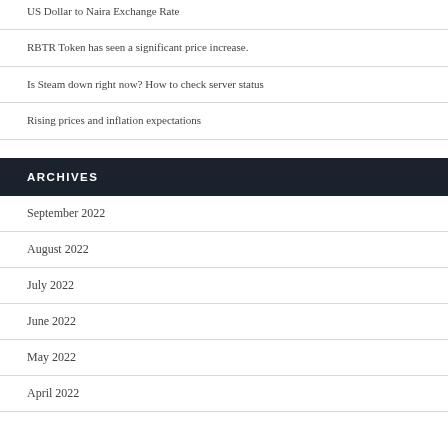US Dollar to Naira Exchange Rate
RBTR Token has seen a significant price increase.
Is Steam down right now? How to check server status
Rising prices and inflation expectations
ARCHIVES
September 2022
August 2022
July 2022
June 2022
May 2022
April 2022